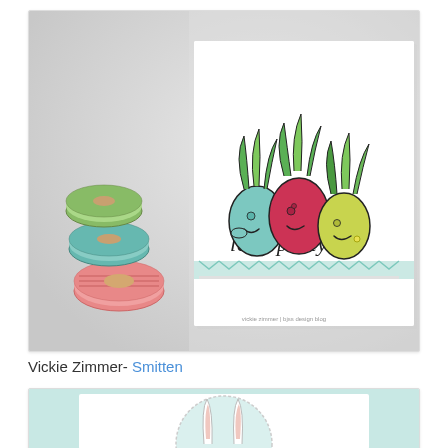[Figure (photo): A handmade greeting card featuring three cartoon pineapple/fruit characters with smiley faces peeking over a white card panel with teal chevron strip. Text reads 'let's party' in playful handwritten font. Washi tape rolls visible in the background on the left.]
Vickie Zimmer- Smitten
[Figure (photo): Partially visible handmade card featuring a white card with a circular stitched die-cut frame and a bunny with ears peeking up from the bottom of the circle, on a light teal background.]